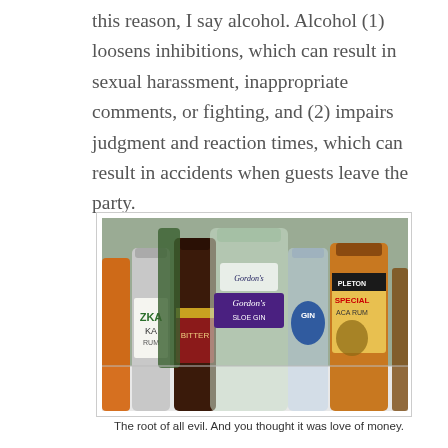this reason, I say alcohol. Alcohol (1) loosens inhibitions, which can result in sexual harassment, inappropriate comments, or fighting, and (2) impairs judgment and reaction times, which can result in accidents when guests leave the party.
[Figure (photo): A photograph of multiple alcohol bottles grouped together on a white surface, including vodka, gin (Gordon's London Dry Gin), rum (Appleton Special Jamaica Rum), and other spirits.]
The root of all evil. And you thought it was love of money.